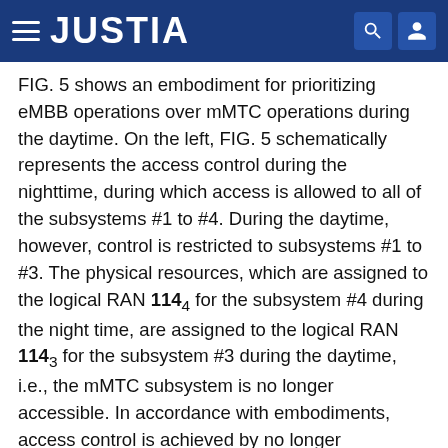JUSTIA
FIG. 5 shows an embodiment for prioritizing eMBB operations over mMTC operations during the daytime. On the left, FIG. 5 schematically represents the access control during the nighttime, during which access is allowed to all of the subsystems #1 to #4. During the daytime, however, control is restricted to subsystems #1 to #3. The physical resources, which are assigned to the logical RAN 114₄ for the subsystem #4 during the night time, are assigned to the logical RAN 114₃ for the subsystem #3 during the daytime, i.e., the mMTC subsystem is no longer accessible. In accordance with embodiments, access control is achieved by no longer scheduling any resources for the radio access to the subsystem #4, i.e., the logical RAN 114₄ is no longer present. The embodiment of FIG. 5 is advantageous as it allows a delay un-critical service, as provided by the mMTC subsystem #4, to be temporarily barred so as to